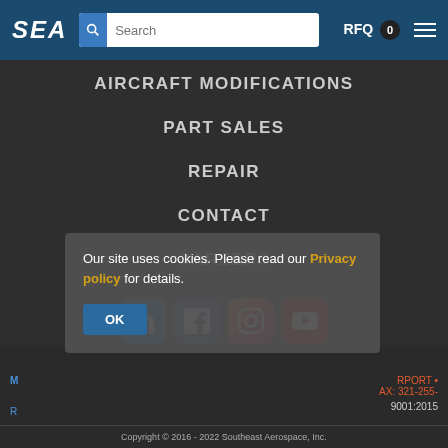[Figure (screenshot): SEA (Southeast Aerospace) website navigation bar with logo, search box, RFQ counter, and hamburger menu icon on a dark blue background]
AIRCRAFT MODIFICATIONS
PART SALES
REPAIR
CONTACT
CAREERS
[Figure (logo): Social media icons: LinkedIn, Facebook, Instagram, YouTube]
Our site uses cookies. Please read our Privacy policy for details.
RPORT • AX: 321-255- 9001:2015
Copyright © 2016 - 2022 Southeast Aerospace, Inc.